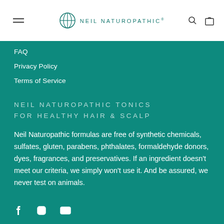NEIL NATUROPATHIC
FAQ
Privacy Policy
Terms of Service
NEIL NATUROPATHIC TONICS FOR HEALTHY HAIR & SCALP
Neil Naturopathic formulas are free of synthetic chemicals, sulfates, gluten, parabens, phthalates, formaldehyde donors, dyes, fragrances, and preservatives. If an ingredient doesn't meet our criteria, we simply won't use it. And be assured, we never test on animals.
[Figure (illustration): Social media icons: Facebook, Instagram, YouTube]